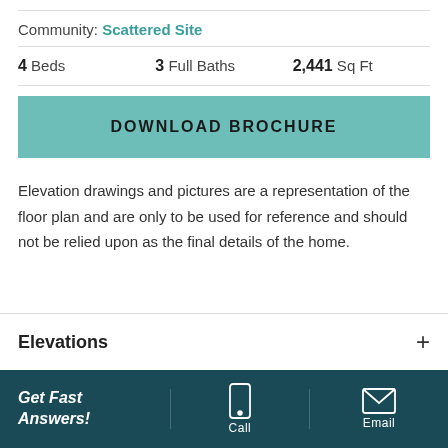Community: Scattered Site
4 Beds   3 Full Baths   2,441 Sq Ft
DOWNLOAD BROCHURE
Elevation drawings and pictures are a representation of the floor plan and are only to be used for reference and should not be relied upon as the final details of the home.
Elevations
Get Fast Answers!  Call  Email